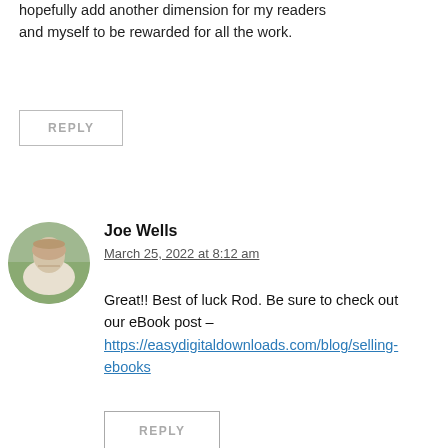hopefully add another dimension for my readers and myself to be rewarded for all the work.
REPLY
Joe Wells
March 25, 2022 at 8:12 am
Great!! Best of luck Rod. Be sure to check out our eBook post – https://easydigitaldownloads.com/blog/selling-ebooks
REPLY